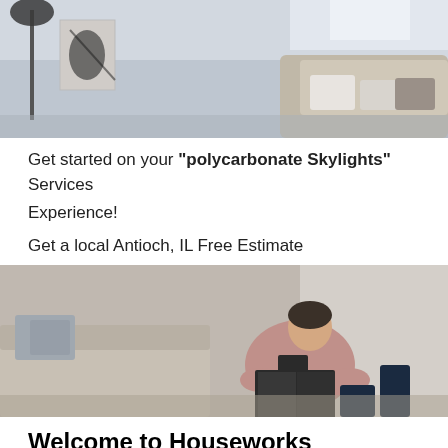[Figure (photo): Interior room photograph showing a bedroom or living room scene with a floor lamp, sofa, pillows, and wall art in muted gray-blue tones]
Get started on your "polycarbonate Skylights" Services Experience!
Get a local Antioch, IL Free Estimate
[Figure (photo): Person sitting on the floor leaning against a sofa, reading a book, wearing a pink/mauve shirt and dark jeans]
Welcome to Houseworks Daylighting Solutions, LLC
Houseworks Daylighting Solutions, LLC is an award winning company that provides polycarbonate Skylights services to